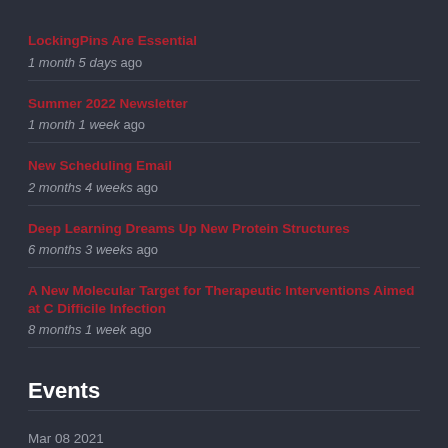LockingPins Are Essential
1 month 5 days ago
Summer 2022 Newsletter
1 month 1 week ago
New Scheduling Email
2 months 4 weeks ago
Deep Learning Dreams Up New Protein Structures
6 months 3 weeks ago
A New Molecular Target for Therapeutic Interventions Aimed at C Difficile Infection
8 months 1 week ago
Events
Mar 08 2021